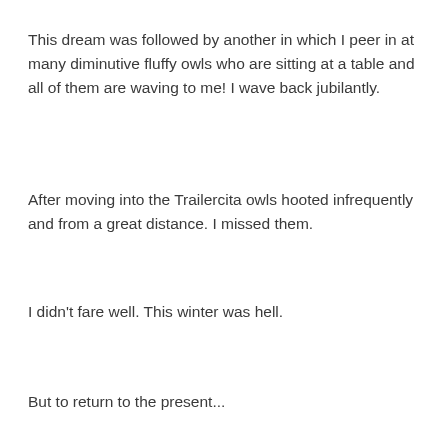This dream was followed by another in which I peer in at many diminutive fluffy owls who are sitting at a table and all of them are waving to me! I wave back jubilantly.
After moving into the Trailercita owls hooted infrequently and from a great distance. I missed them.
I didn't fare well. This winter was hell.
But to return to the present...